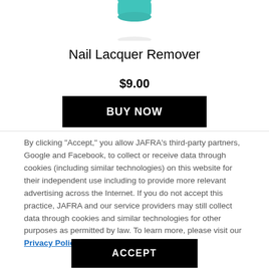[Figure (photo): Bottom portion of a teal/turquoise nail lacquer remover bottle with cap visible at top]
Nail Lacquer Remover
$9.00
BUY NOW
By clicking “Accept,” you allow JAFRA’s third-party partners, Google and Facebook, to collect or receive data through cookies (including similar technologies) on this website for their independent use including to provide more relevant advertising across the Internet. If you do not accept this practice, JAFRA and our service providers may still collect data through cookies and similar technologies for other purposes as permitted by law. To learn more, please visit our Privacy Policy.
ACCEPT